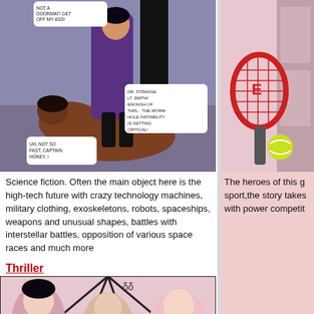[Figure (illustration): Science fiction comic panel showing two characters in an action scene with speech bubbles: 'NOT A DOORMAT! GET OFF MY ASS!', 'UH, NOT SO FAST, CAPTAIN HONEY..!', 'DR. STRANGE LT. SMITH! ENOUGH OF THIS... THE WORM-HOLE INSTABILITY IS GETTING CRITICAL!']
[Figure (illustration): Right column partial comic panel showing a tennis racket and tennis ball, part of a sports-themed comic]
Science fiction. Often the main object here is the high-tech future with crazy technology machines, military clothing, exoskeletons, robots, spaceships, weapons and unusual shapes, battles with interstellar battles, opposition of various space races and much more
The heroes of this g sport,the story takes with power competit
Thriller
[Figure (illustration): Thriller comic panel showing multiple panels with dramatic scenes including characters in tense situations]